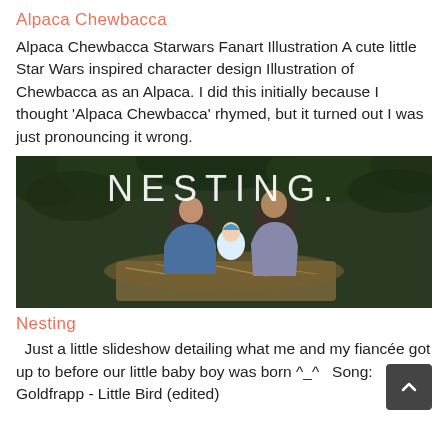Alpaca Chewbacca
Alpaca Chewbacca Starwars Fanart Illustration A cute little Star Wars inspired character design Illustration of Chewbacca as an Alpaca. I did this initially because I thought 'Alpaca Chewbacca' rhymed, but it turned out I was just pronouncing it wrong.
[Figure (photo): A dark outdoor photo showing two adults sitting together holding a baby, with the word NESTING. overlaid in large white text against a background of dark green foliage.]
Nesting
Just a little slideshow detailing what me and my fiancée got up to before our little baby boy was born ^_^  Song:   Goldfrapp - Little Bird (edited)